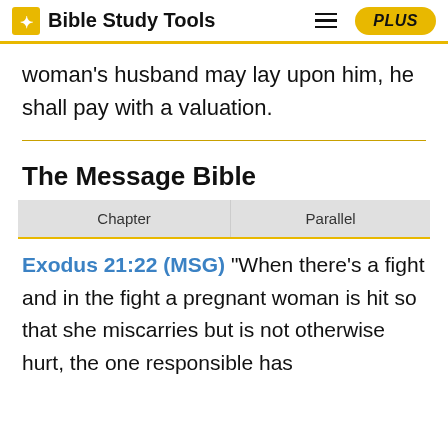Bible Study Tools
woman's husband may lay upon him, he shall pay with a valuation.
The Message Bible
| Chapter | Parallel |
| --- | --- |
Exodus 21:22 (MSG) "When there's a fight and in the fight a pregnant woman is hit so that she miscarries but is not otherwise hurt, the one responsible has